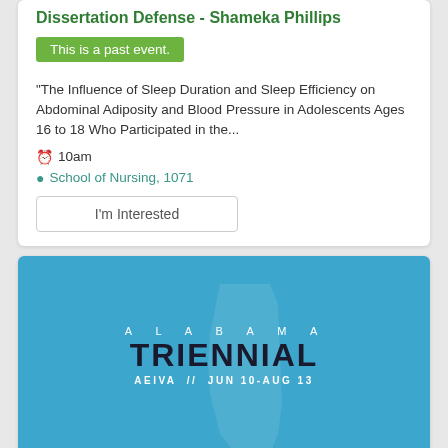Dissertation Defense - Shameka Phillips
This is a past event.
"The Influence of Sleep Duration and Sleep Efficiency on Abdominal Adiposity and Blood Pressure in Adolescents Ages 16 to 18 Who Participated in the...
10am
School of Nursing, 1071
I'm Interested
[Figure (illustration): Alabama Triennial event poster on blue background showing the state outline of Alabama and text: ALABAMA TRIENNIAL AEIVA // JUN 10-AUG 13]